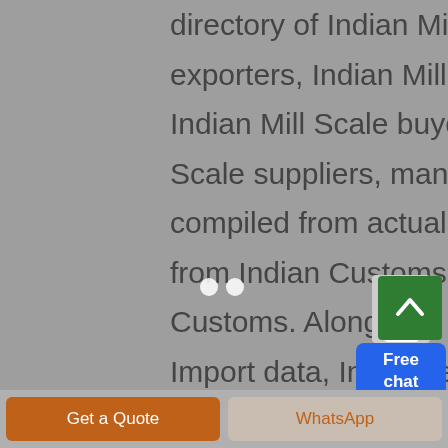Mill Scale export import data and directory of Indian Mill Scale exporters, Indian Mill Scale importers, Indian Mill Scale buyers, Indian Mill Scale suppliers, manufacturers compiled from actual shipment data from Indian Customs and US Customs. Along with the India Export Import data, InfodriveIndia also provides Indian Mill Scale USA Import Data which is ...
[Figure (illustration): Chat widget with avatar figure and blue 'Free chat' button]
[Figure (illustration): Green scroll-to-top button with upward arrow]
Get a Quote
WhatsApp